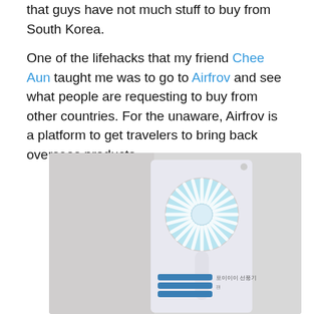that guys have not much stuff to buy from South Korea.
One of the lifehacks that my friend Chee Aun taught me was to go to Airfrov and see what people are requesting to buy from other countries. For the unaware, Airfrov is a platform to get travelers to bring back overseas products.
[Figure (photo): Photo of a portable handheld fan product in its packaging box. The box is white/light colored and shows a circular fan with blue fan blades on a white handle. Korean text is visible on the lower part of the box.]